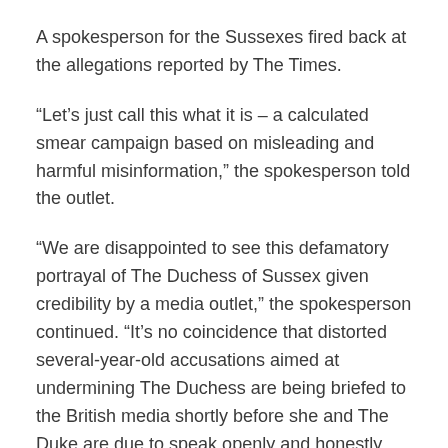A spokesperson for the Sussexes fired back at the allegations reported by The Times.
“Let’s just call this what it is – a calculated smear campaign based on misleading and harmful misinformation,” the spokesperson told the outlet.
“We are disappointed to see this defamatory portrayal of The Duchess of Sussex given credibility by a media outlet,” the spokesperson continued. “It’s no coincidence that distorted several-year-old accusations aimed at undermining The Duchess are being briefed to the British media shortly before she and The Duke are due to speak openly and honestly about their experience of recent years.”
Last week, the British royal family put on a united front